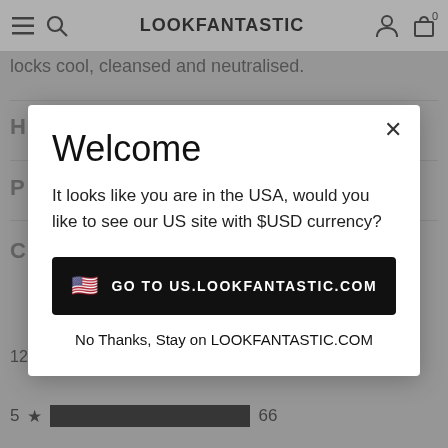LOOKFANTASTIC
locks cool, cleansed and neutralised.
129 Reviews
5 ★  66
Welcome
It looks like you are in the USA, would you like to see our US site with $USD currency?
GO TO US.LOOKFANTASTIC.COM
No Thanks, Stay on LOOKFANTASTIC.COM